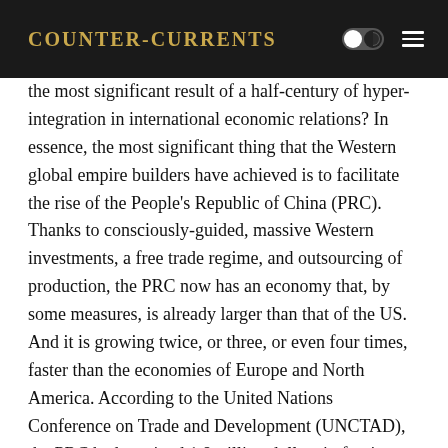Counter-Currents
the most significant result of a half-century of hyper-integration in international economic relations? In essence, the most significant thing that the Western global empire builders have achieved is to facilitate the rise of the People's Republic of China (PRC). Thanks to consciously-guided, massive Western investments, a free trade regime, and outsourcing of production, the PRC now has an economy that, by some measures, is already larger than that of the US. And it is growing twice, or three, or even four times, faster than the economies of Europe and North America. According to the United Nations Conference on Trade and Development (UNCTAD), the PRC had received 1.8 trillion dollars in foreign investment (FDI) in 2019, the largest such boost to growth that any developing country has ever been given. The real, unofficial total of Western FDI is likely several times larger, given that investment